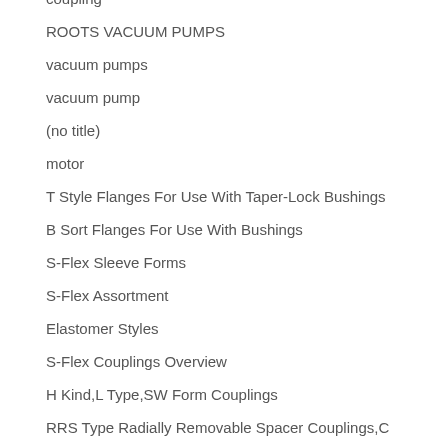coupling
ROOTS VACUUM PUMPS
vacuum pumps
vacuum pump
(no title)
motor
T Style Flanges For Use With Taper-Lock Bushings
B Sort Flanges For Use With Bushings
S-Flex Sleeve Forms
S-Flex Assortment
Elastomer Styles
S-Flex Couplings Overview
H Kind,L Type,SW Form Couplings
RRS Type Radially Removable Spacer Couplings,C
Kind Couplings